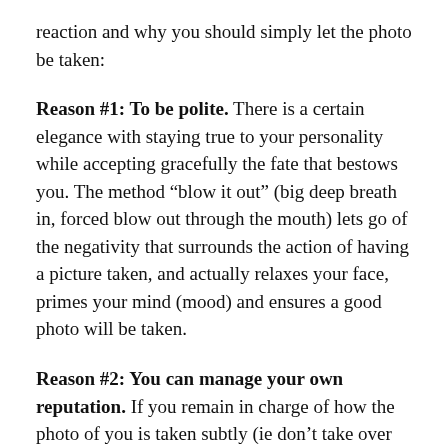reaction and why you should simply let the photo be taken:
Reason #1: To be polite. There is a certain elegance with staying true to your personality while accepting gracefully the fate that bestows you. The method “blow it out” (big deep breath in, forced blow out through the mouth) lets go of the negativity that surrounds the action of having a picture taken, and actually relaxes your face, primes your mind (mood) and ensures a good photo will be taken.
Reason #2: You can manage your own reputation. If you remain in charge of how the photo of you is taken subtly (ie don’t take over like you own the photo shoot, just prepare your face and body for the incoming), you can promote yourself in a way